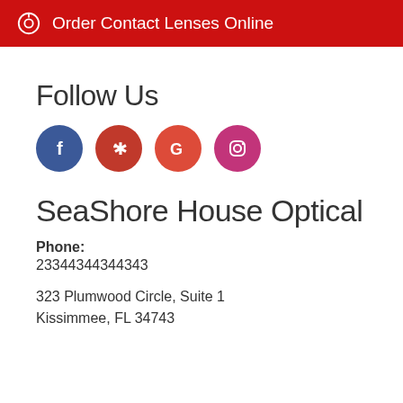Order Contact Lenses Online
Follow Us
[Figure (illustration): Social media icons: Facebook (blue circle), Yelp (red circle), Google (orange-red circle), Instagram (pink circle)]
SeaShore House Optical
Phone:
23344344344343
323 Plumwood Circle, Suite 1
Kissimmee, FL 34743